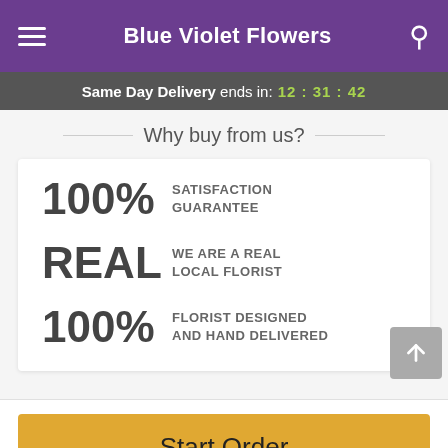Blue Violet Flowers
Same Day Delivery ends in: 12:31:42
Why buy from us?
100% SATISFACTION GUARANTEE
REAL WE ARE A REAL LOCAL FLORIST
100% FLORIST DESIGNED AND HAND DELIVERED
Start Order